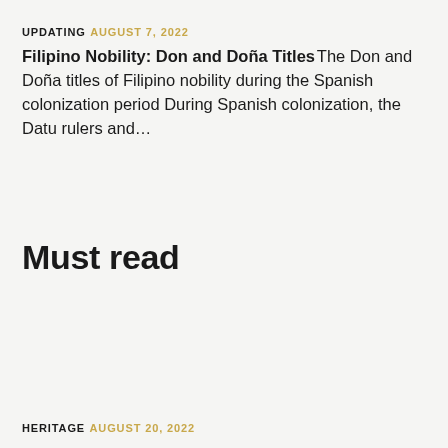UPDATING  AUGUST 7, 2022
Filipino Nobility: Don and Doña Titles  The Don and Doña titles of Filipino nobility during the Spanish colonization period During Spanish colonization, the Datu rulers and…
Must read
HERITAGE  AUGUST 20, 2022